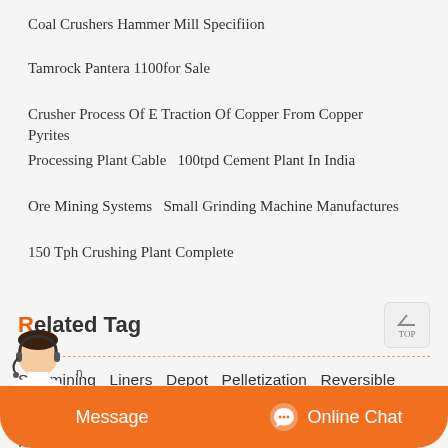Coal Crushers Hammer Mill Specifiion
Tamrock Pantera 1100for Sale
Crusher Process Of E Traction Of Copper From Copper Pyrites
Processing Plant Cable   100tpd Cement Plant In India
Ore Mining Systems   Small Grinding Machine Manufactures
150 Tph Crushing Plant Complete
Related Tag
Scmmining   Liners   Depot   Pelletization   Reversible   Hewitt   Peluang   Biotrituradoras   Mineria   Pagpapanatili   Cadmium   20hp   Cheapest   Apa   Industri   Rare   Pvc   Chloride   Timog
Message   Online Chat